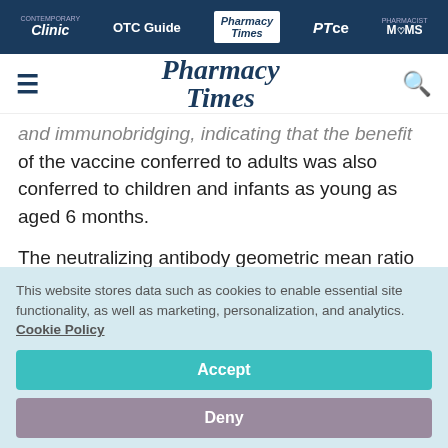Clinic | OTC Guide | Pharmacy Times | PTce | Pharmacist MOMS
[Figure (logo): Pharmacy Times logo with hamburger menu and search icon]
and immunobridging, indicating that the benefit of the vaccine conferred to adults was also conferred to children and infants as young as aged 6 months.
The neutralizing antibody geometric mean ratio
This website stores data such as cookies to enable essential site functionality, as well as marketing, personalization, and analytics. Cookie Policy
Accept
Deny